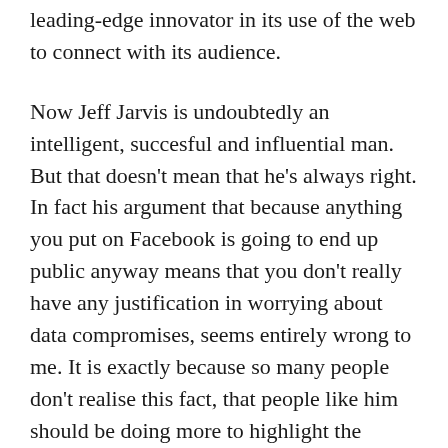leading-edge innovator in its use of the web to connect with its audience.
Now Jeff Jarvis is undoubtedly an intelligent, succesful and influential man. But that doesn't mean that he's always right. In fact his argument that because anything you put on Facebook is going to end up public anyway means that you don't really have any justification in worrying about data compromises, seems entirely wrong to me. It is exactly because so many people don't realise this fact, that people like him should be doing more to highlight the dangers, as well as the positives, of technology.